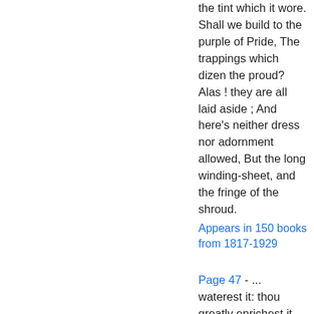the tint which it wore. Shall we build to the purple of Pride, The trappings which dizen the proud? Alas ! they are all laid aside ; And here's neither dress nor adornment allowed, But the long winding-sheet, and the fringe of the shroud.
Appears in 150 books from 1817-1929
Page 47 - ... waterest it: thou greatly enrichest it with the river of God, which is full of water: thou...
Appears in 684 books from 1805-2008
Page 47 - Nevertheless